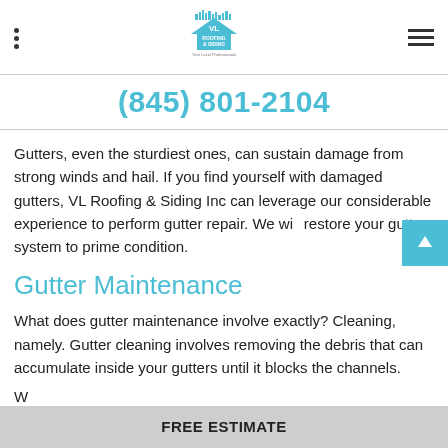VL Roofing & Siding - Your Local Professionals
(845) 801-2104
Gutters, even the sturdiest ones, can sustain damage from strong winds and hail. If you find yourself with damaged gutters, VL Roofing & Siding Inc can leverage our considerable experience to perform gutter repair. We will restore your gutter system to prime condition.
Gutter Maintenance
What does gutter maintenance involve exactly? Cleaning, namely. Gutter cleaning involves removing the debris that can accumulate inside your gutters until it blocks the channels.
W
FREE ESTIMATE